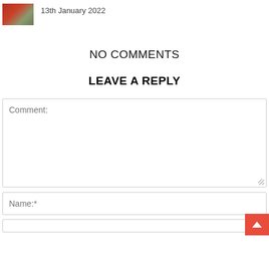[Figure (photo): Small thumbnail image of a damaged or rusty car/vehicle in an outdoor setting]
13th January 2022
NO COMMENTS
LEAVE A REPLY
Comment:
Name:*